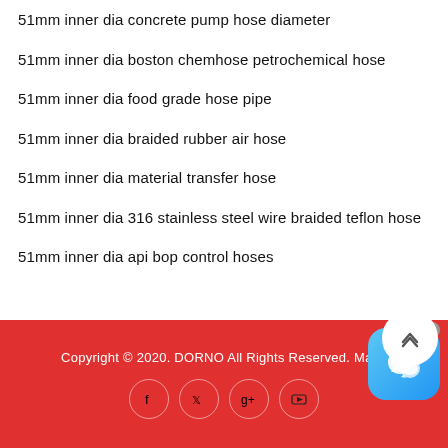51mm inner dia concrete pump hose diameter
51mm inner dia boston chemhose petrochemical hose
51mm inner dia food grade hose pipe
51mm inner dia braided rubber air hose
51mm inner dia material transfer hose
51mm inner dia 316 stainless steel wire braided teflon hose
51mm inner dia api bop control hoses
Copyright © 2020. DORNO All Rights Reserved. Maps